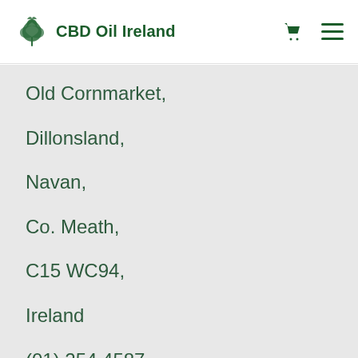CBD Oil Ireland
Old Cornmarket,
Dillonsland,
Navan,
Co. Meath,
C15 WC94,
Ireland
(01) 254 4587